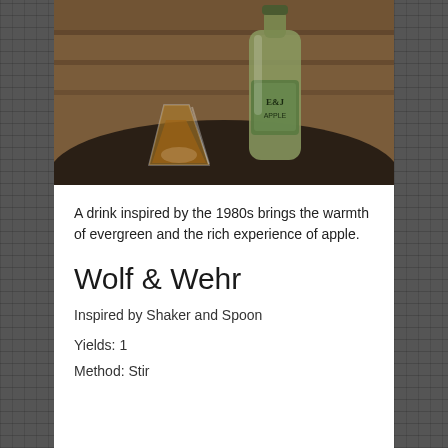[Figure (photo): A glass of amber-colored drink and an E&J Apple brandy bottle sitting on a dark round wooden table, with wooden barrels visible in the background.]
A drink inspired by the 1980s brings the warmth of evergreen and the rich experience of apple.
Wolf & Wehr
Inspired by Shaker and Spoon
Yields: 1
Method: Stir